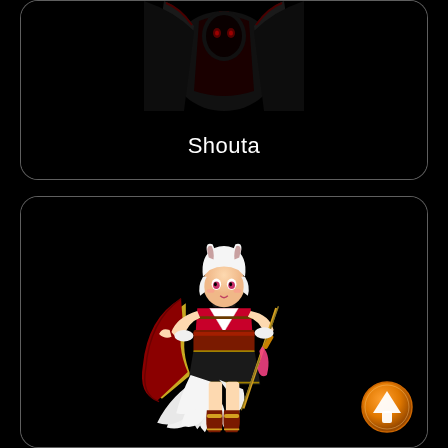[Figure (illustration): Top card showing a dark creature/monster in black armor with red highlights, partially cut off at top. Below the creature is the name 'Shouta' in white text.]
Shouta
[Figure (illustration): Bottom card showing a fox-girl anime character in pink and white outfit holding a sword/staff, with white fox ears and multiple white fox tails. An orange circular up-arrow button is in the bottom-right corner.]